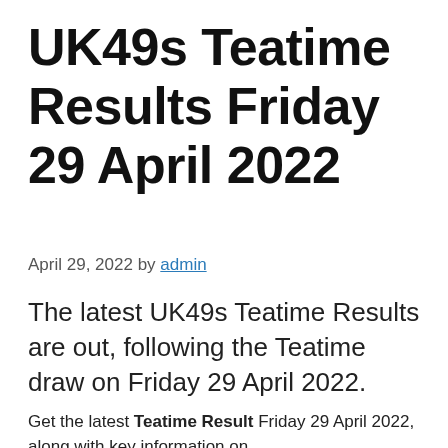UK49s Teatime Results Friday 29 April 2022
April 29, 2022 by admin
The latest UK49s Teatime Results are out, following the Teatime draw on Friday 29 April 2022.
Get the latest Teatime Result Friday 29 April 2022, along with key information on